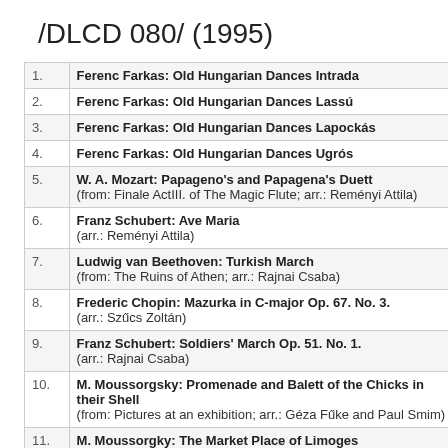/DLCD 080/ (1995)
| # | Track |
| --- | --- |
| 1. | Ferenc Farkas: Old Hungarian Dances Intrada |
| 2. | Ferenc Farkas: Old Hungarian Dances Lassú |
| 3. | Ferenc Farkas: Old Hungarian Dances Lapockás |
| 4. | Ferenc Farkas: Old Hungarian Dances Ugrós |
| 5. | W. A. Mozart: Papageno's and Papagena's Duett
(from: Finale ActIII. of The Magic Flute; arr.: Reményi Attila) |
| 6. | Franz Schubert: Ave Maria
(arr.: Reményi Attila) |
| 7. | Ludwig van Beethoven: Turkish March
(from: The Ruins of Athen; arr.: Rajnai Csaba) |
| 8. | Frederic Chopin: Mazurka in C-major Op. 67. No. 3.
(arr.: Szűcs Zoltán) |
| 9. | Franz Schubert: Soldiers' March Op. 51. No. 1.
(arr.: Rajnai Csaba) |
| 10. | M. Moussorgsky: Promenade and Balett of the Chicks in their Shell
(from: Pictures at an exhibition; arr.: Géza Fűke and Paul Smim) |
| 11. | M. Moussorgky: The Market Place of Limoges
(from: Pictures at an exhibition; arr.: Fűke Géza) |